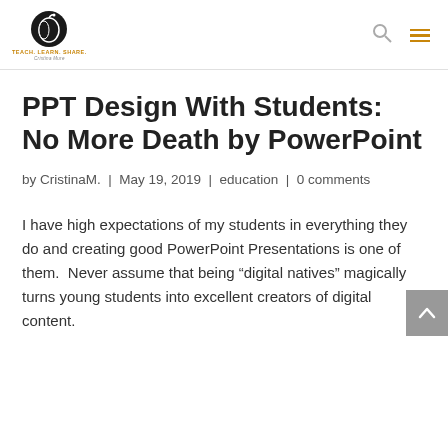TEACH. LEARN. SHARE. Cristina Mure
PPT Design With Students: No More Death by PowerPoint
by CristinaM.  |  May 19, 2019  |  education  |  0 comments
I have high expectations of my students in everything they do and creating good PowerPoint Presentations is one of them.  Never assume that being “digital natives” magically turns young students into excellent creators of digital content.